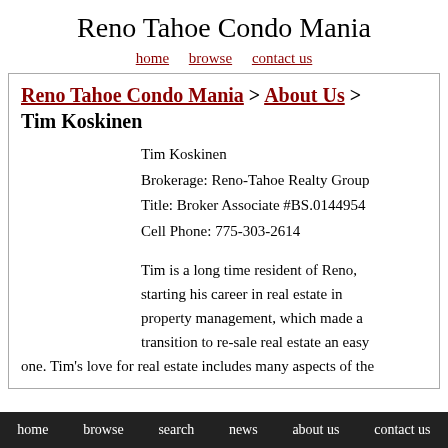Reno Tahoe Condo Mania
home   browse   contact us
Reno Tahoe Condo Mania > About Us > Tim Koskinen
Tim Koskinen
Brokerage: Reno-Tahoe Realty Group
Title: Broker Associate #BS.0144954
Cell Phone: 775-303-2614
Tim is a long time resident of Reno, starting his career in real estate in property management, which made a transition to re-sale real estate an easy one. Tim's love for real estate includes many aspects of the
home   browse   search   news   about us   contact us